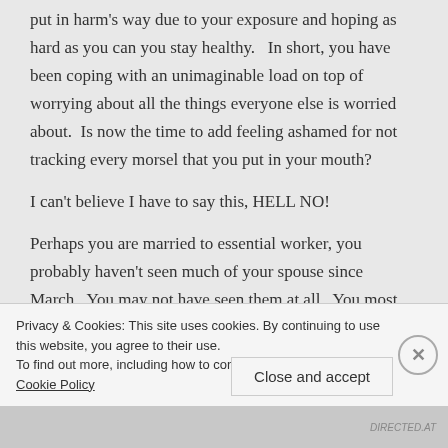put in harm's way due to your exposure and hoping as hard as you can you stay healthy.   In short, you have been coping with an unimaginable load on top of worrying about all the things everyone else is worried about.  Is now the time to add feeling ashamed for not tracking every morsel that you put in your mouth?
I can't believe I have to say this, HELL NO!
Perhaps you are married to essential worker, you probably haven't seen much of your spouse since March.  You may not have seen them at all.  You most
Privacy & Cookies: This site uses cookies. By continuing to use this website, you agree to their use.
To find out more, including how to control cookies, see here: Cookie Policy
Close and accept